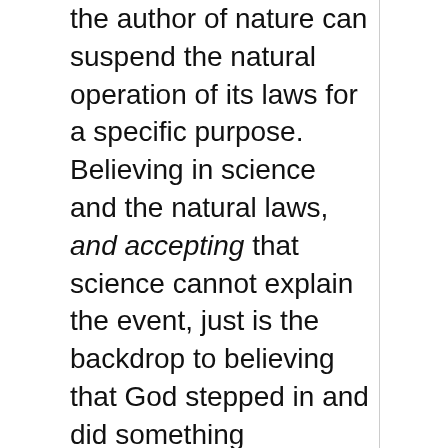the author of nature can suspend the natural operation of its laws for a specific purpose. Believing in science and the natural laws, and accepting that science cannot explain the event, just is the backdrop to believing that God stepped in and did something supernatural instead.

If God created a vast extra